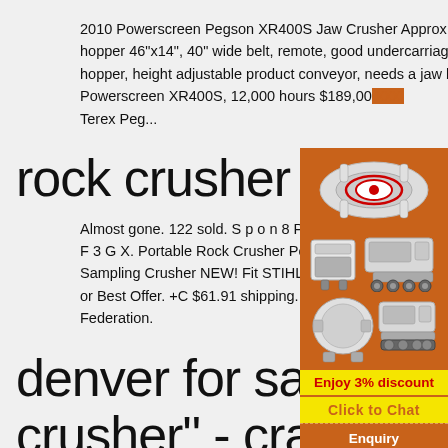2010 Powerscreen Pegson XR400S Jaw Crusher Approx. 20,000 hours, Caterpillar C9, hopper 46"x14", 40" wide belt, remote, good undercarriage, up to 400 tph, hydraulic folding hopper, height adjustable product conveyor, needs a jaw bearing. 2 others available: 2010 Powerscreen XR400S, 12,000 hours $189,000 ... Terex Peg...
rock crusher | eBa
Almost gone. 122 sold. S p o n 8 P s o r ... F 3 G X. Portable Rock Crusher Powered by ... Sampling Crusher NEW! Fit STIHL170-250. ... or Best Offer. +C $61.91 shipping. from Russian Federation.
denver for sale "rock crusher" - craigslist
[Figure (illustration): Orange advertisement panel with images of mining/crushing equipment machines (cone crusher, jaw crusher, ball mill), yellow 'Enjoy 3% discount' banner, yellow 'Click to Chat' button, orange 'Enquiry' section, and email limingjlmofen@sina.com]